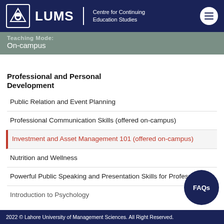LUMS | Centre for Continuing Education Studies
Teaching Mode:
On-campus
Professional and Personal Development
Public Relation and Event Planning
Professional Communication Skills (offered on-campus)
Investment and Asset Management 101 (offered on-campus)
Nutrition and Wellness
Powerful Public Speaking and Presentation Skills for Professionals
Introduction to Psychology
2022 © Lahore University of Management Sciences. All Right Reserved.